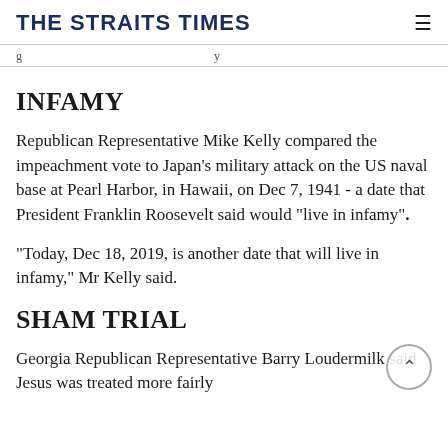THE STRAITS TIMES
g … y
INFAMY
Republican Representative Mike Kelly compared the impeachment vote to Japan's military attack on the US naval base at Pearl Harbor, in Hawaii, on Dec 7, 1941 - a date that President Franklin Roosevelt said would "live in infamy".
"Today, Dec 18, 2019, is another date that will live in infamy," Mr Kelly said.
SHAM TRIAL
Georgia Republican Representative Barry Loudermilk said Jesus was treated more fairly